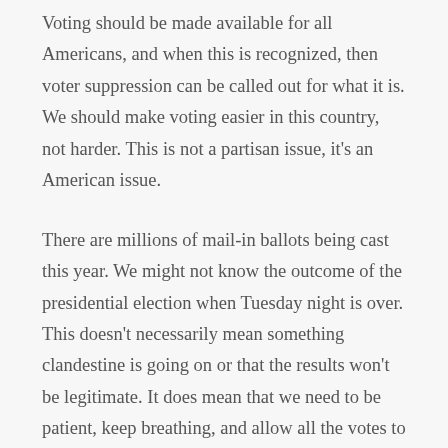Voting should be made available for all Americans, and when this is recognized, then voter suppression can be called out for what it is. We should make voting easier in this country, not harder. This is not a partisan issue, it's an American issue.
There are millions of mail-in ballots being cast this year. We might not know the outcome of the presidential election when Tuesday night is over. This doesn't necessarily mean something clandestine is going on or that the results won't be legitimate. It does mean that we need to be patient, keep breathing, and allow all the votes to be counted. Let the democratic process have its moment.